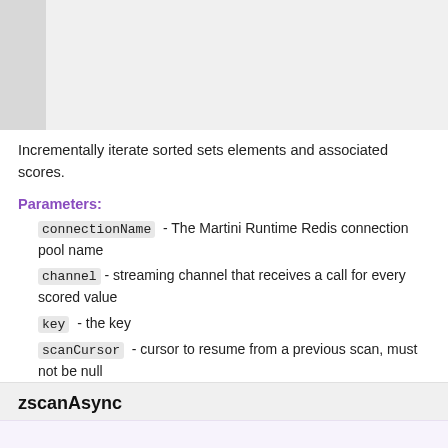[Figure (other): Gray image/code area at top of page with dark left sidebar]
Incrementally iterate sorted sets elements and associated scores.
Parameters:
connectionName  - The Martini Runtime Redis connection pool name
channel - streaming channel that receives a call for every scored value
key  - the key
scanCursor  - cursor to resume from a previous scan, must not be null
Returns:
StreamScanCursor scan cursor.
zscanAsync